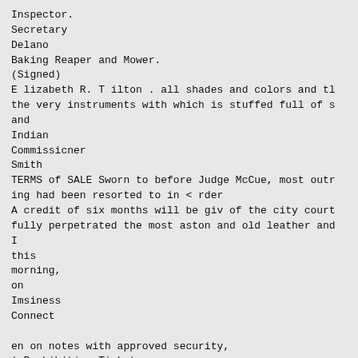Inspector.
Secretary
Delano
Baking Reaper and Mower.
(Signed)
E lizabeth R. T ilton . all shades and colors and tl
the very instruments with which is stuffed full of s
and
Indian
Commissicner
Smith
TERMS of SALE Sworn to before Judge McCue, most outr
ing had been resorted to in < rder
A credit of six months will be giv of the city court
fully perpetrated the most aston and old leather and
I
this
morning,
on
Imsiness
Connect

en on notes with approved security,
| Prohibition Ticket.